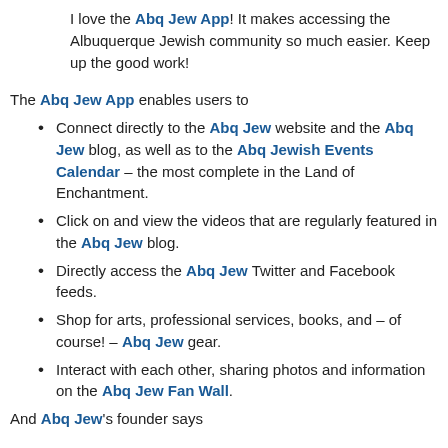I love the Abq Jew App! It makes accessing the Albuquerque Jewish community so much easier. Keep up the good work!
The Abq Jew App enables users to
Connect directly to the Abq Jew website and the Abq Jew blog, as well as to the Abq Jewish Events Calendar – the most complete in the Land of Enchantment.
Click on and view the videos that are regularly featured in the Abq Jew blog.
Directly access the Abq Jew Twitter and Facebook feeds.
Shop for arts, professional services, books, and – of course! – Abq Jew gear.
Interact with each other, sharing photos and information on the Abq Jew Fan Wall.
And Abq Jew's founder says